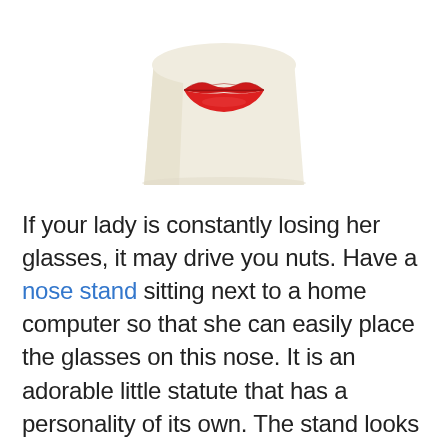[Figure (photo): A ceramic nose/face figurine with red lips on a cream/beige base, viewed from the front, on a white background.]
If your lady is constantly losing her glasses, it may drive you nuts. Have a nose stand sitting next to a home computer so that she can easily place the glasses on this nose. It is an adorable little statute that has a personality of its own. The stand looks nice, stands steady and holds glasses securely with its weighted base lined with felt. Little nose pad is as cute as a button and is a great ornamental gift for her. Apparently, it can spark conversation in the office with co-